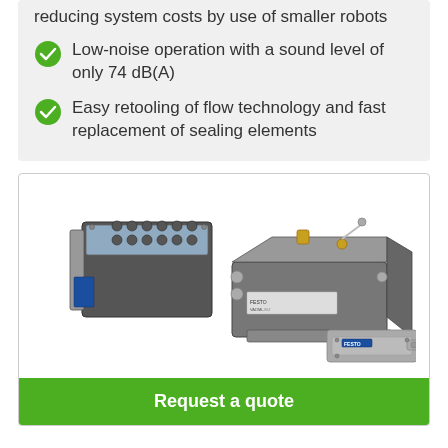reducing system costs by use of smaller robots
Low-noise operation with a sound level of only 74 dB(A)
Easy retooling of flow technology and fast replacement of sealing elements
[Figure (photo): Industrial pneumatic valve/manifold components shown in three pieces: a multi-port manifold block with multiple tube fittings, a flat valve body block, and a small interface plate.]
Request a quote